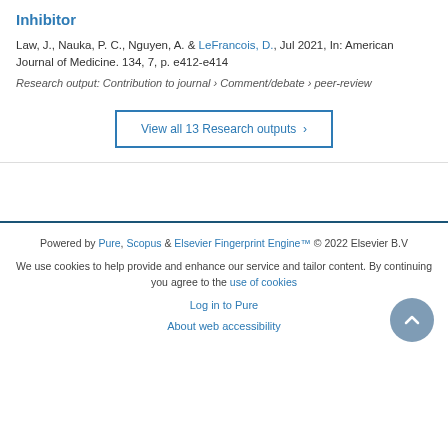Inhibitor
Law, J., Nauka, P. C., Nguyen, A. & LeFrancois, D., Jul 2021, In: American Journal of Medicine. 134, 7, p. e412-e414
Research output: Contribution to journal › Comment/debate › peer-review
View all 13 Research outputs ›
Powered by Pure, Scopus & Elsevier Fingerprint Engine™ © 2022 Elsevier B.V
We use cookies to help provide and enhance our service and tailor content. By continuing you agree to the use of cookies
Log in to Pure
About web accessibility